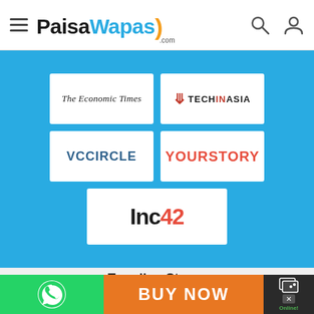[Figure (logo): PaisaWapas.com website header with hamburger menu, logo, search icon, and user icon]
[Figure (logo): Media coverage logos: The Economic Times, TechInAsia, VCCircle, YourStory, Inc42 on blue background]
Trending Stores
[Figure (logo): Trending store logos: amazon.in, Flipkart, Myntra]
[Figure (infographic): Bottom bar with WhatsApp button (green), BUY NOW button (orange), and online chat badge]